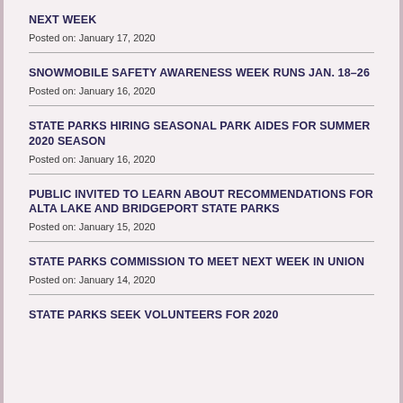NEXT WEEK
Posted on: January 17, 2020
SNOWMOBILE SAFETY AWARENESS WEEK RUNS JAN. 18-26
Posted on: January 16, 2020
STATE PARKS HIRING SEASONAL PARK AIDES FOR SUMMER 2020 SEASON
Posted on: January 16, 2020
PUBLIC INVITED TO LEARN ABOUT RECOMMENDATIONS FOR ALTA LAKE AND BRIDGEPORT STATE PARKS
Posted on: January 15, 2020
STATE PARKS COMMISSION TO MEET NEXT WEEK IN UNION
Posted on: January 14, 2020
STATE PARKS SEEK VOLUNTEERS FOR 2020